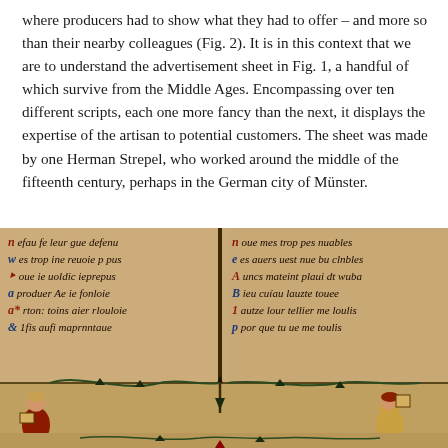where producers had to show what they had to offer – and more so than their nearby colleagues (Fig. 2). It is in this context that we are to understand the advertisement sheet in Fig. 1, a handful of which survive from the Middle Ages. Encompassing over ten different scripts, each one more fancy than the next, it displays the expertise of the artisan to potential customers. The sheet was made by one Herman Strepel, who worked around the middle of the fifteenth century, perhaps in the German city of Münster.
[Figure (illustration): A medieval manuscript page showing Gothic script text in two columns separated by a vertical bar with vine decorations. The left column contains six lines of blackletter/Gothic text with colored initial letters in red and blue. The right column also has six lines of Gothic text with decorated initials. At the bottom, illustrated figures of medieval scribes or readers holding books/scrolls are visible, along with vine scroll decorations.]